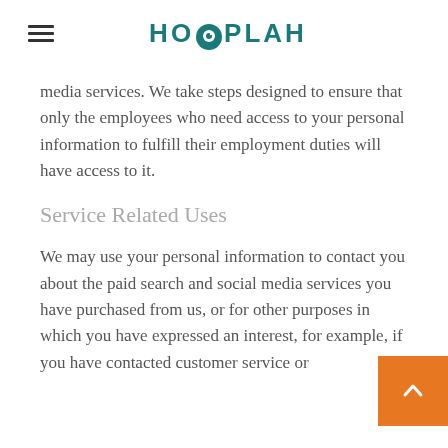HOOPLAH
media services. We take steps designed to ensure that only the employees who need access to your personal information to fulfill their employment duties will have access to it.
Service Related Uses
We may use your personal information to contact you about the paid search and social media services you have purchased from us, or for other purposes in which you have expressed an interest, for example, if you have contacted customer service or